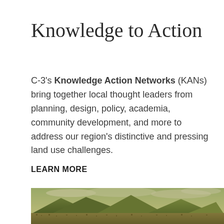Knowledge to Action
C-3's Knowledge Action Networks (KANs) bring together local thought leaders from planning, design, policy, academia, community development, and more to address our region's distinctive and pressing land use challenges.
LEARN MORE
[Figure (photo): Panoramic landscape photo showing mountain ranges in the background with a city/urban area spread across the foreground, with a cloudy sky. The image has a warm yellowish-green tonal treatment.]